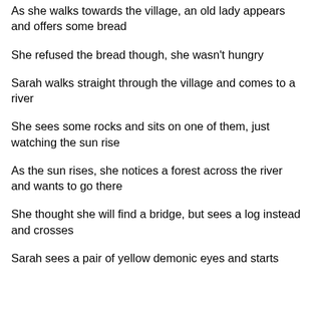As she walks towards the village, an old lady appears and offers some bread
She refused the bread though, she wasn't hungry
Sarah walks straight through the village and comes to a river
She sees some rocks and sits on one of them, just watching the sun rise
As the sun rises, she notices a forest across the river and wants to go there
She thought she will find a bridge, but sees a log instead and crosses
Sarah sees a pair of yellow demonic eyes and starts